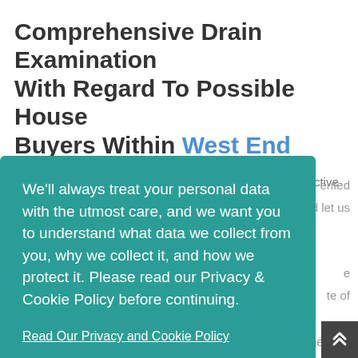Comprehensive Drain Examination With Regard To Possible House Buyers Within West End
All of us from Blocked Drains West End only have 1 objective
[Figure (screenshot): Cookie consent modal overlay with teal background. Contains privacy notice text, a 'Read Our Privacy and Cookie Policy' link, and two buttons: 'Decline' and 'Accept' (green button).]